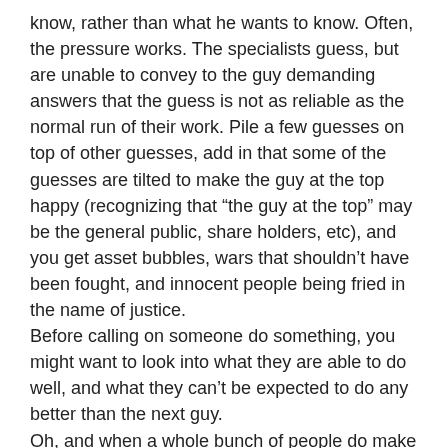know, rather than what he wants to know. Often, the pressure works. The specialists guess, but are unable to convey to the guy demanding answers that the guess is not as reliable as the normal run of their work. Pile a few guesses on top of other guesses, add in that some of the guesses are tilted to make the guy at the top happy (recognizing that “the guy at the top” may be the general public, share holders, etc), and you get asset bubbles, wars that shouldn’t have been fought, and innocent people being fried in the name of justice.
Before calling on someone do something, you might want to look into what they are able to do well, and what they can’t be expected to do any better than the next guy.
Oh, and when a whole bunch of people do make forecasts, it wouldn’t hurt to keep track of who has a good record. Many of the forecasts we hear are simply done because the job calls for it, with little attention paid to whether the forecasts are any good.